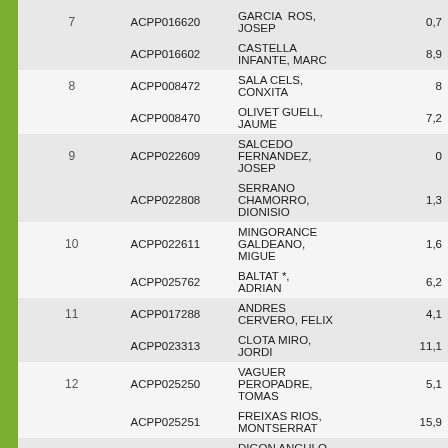| # | Code | Name | Value |
| --- | --- | --- | --- |
| 7 | ACPP016620 | GARCIA  ROS, JOSEP | 0,7 |
| 7 | ACPP016602 | CASTELLA INFANTE, MARC | 8,9 |
| 8 | ACPP008472 | SALA CELS, CONXITA | 8 |
| 8 | ACPP008470 | OLIVET GUELL, JAUME | 7,2 |
| 9 | ACPP022609 | SALCEDO FERNANDEZ, JOSEP | 0 |
| 9 | ACPP022808 | SERRANO CHAMORRO, DIONISIO | 1,3 |
| 10 | ACPP022611 | MINGORANCE GALDEANO, MIGUE | 1,6 |
| 10 | ACPP025762 | BALTAT *, ADRIAN | 6,2 |
| 11 | ACPP017288 | ANDRES CERVERO, FELIX | 4,1 |
| 11 | ACPP023313 | CLOTA MIRO, JORDI | 11,1 |
| 12 | ACPP025250 | VAGUER PEROPADRE, TOMAS | 5,1 |
| 12 | ACPP025251 | FREIXAS RIOS, MONTSERRAT | 15,9 |
| 13 | ACPP016637 | DIGON ANGULO, VALENTI | (+)0,3 |
| 13 | ACPP012882 | MARIN RAMOS, MIQUEL | (+)1,3 |
| 14 | ACPP016800 | ZAMORA SAMPERFECTO, JORDI | (+)3,2 |
| 14 | ACPP016796 | DIAZ ESTEVE, MARIA REMEI | 3,9 |
|  | ACPP024860 | CASTELLANA CIRCUNS, JORDI | 0,1 |